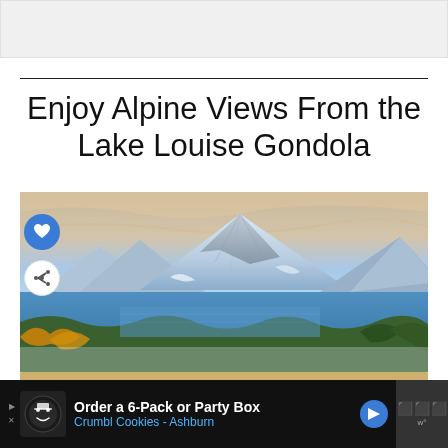[Figure (other): Gray placeholder/banner area at top of webpage]
Enjoy Alpine Views From the Lake Louise Gondola
[Figure (photo): Mountain landscape photo showing snow-capped peaks with dramatic sky, heart/favorite button and share button overlaid, and a 'What's Next' card showing Moraine Lake Guide...]
[Figure (other): Advertisement banner: Order a 6-Pack or Party Box, Crumbl Cookies - Ashburn]